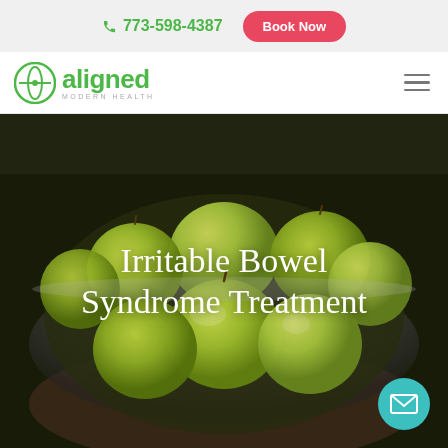📞 773-598-4387   Book Now
[Figure (logo): Aligned Modern Health logo with green circle icon and green text 'aligned' with 'MODERN HEALTH' subtitle]
[Figure (photo): Hero image of green apples in a metallic/copper bowl with white overlay text 'Irritable Bowel Syndrome Treatment']
Irritable Bowel Syndrome Treatment